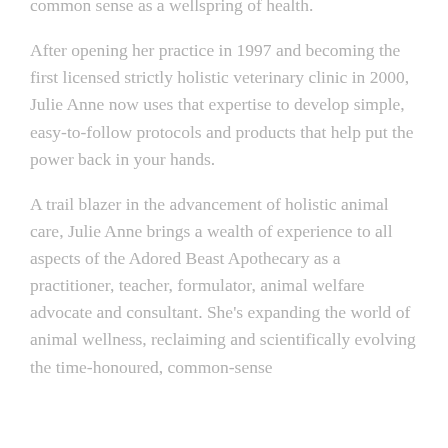common sense as a wellspring of health.
After opening her practice in 1997 and becoming the first licensed strictly holistic veterinary clinic in 2000, Julie Anne now uses that expertise to develop simple, easy-to-follow protocols and products that help put the power back in your hands.
A trail blazer in the advancement of holistic animal care, Julie Anne brings a wealth of experience to all aspects of the Adored Beast Apothecary as a practitioner, teacher, formulator, animal welfare advocate and consultant. She's expanding the world of animal wellness, reclaiming and scientifically evolving the time-honoured, common-sense